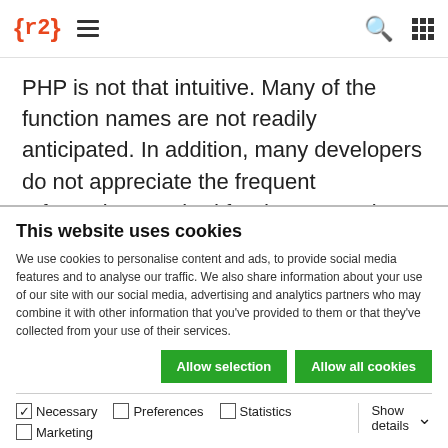{r2} ☰ [search] [grid]
PHP is not that intuitive. Many of the function names are not readily anticipated. In addition, many developers do not appreciate the frequent referencing required for documentation.
2. Lacklustre Performance
This website uses cookies
We use cookies to personalise content and ads, to provide social media features and to analyse our traffic. We also share information about your use of our site with our social media, advertising and analytics partners who may combine it with other information that you've provided to them or that they've collected from your use of their services.
Allow selection | Allow all cookies
✓ Necessary  ☐ Preferences  ☐ Statistics  ☐ Marketing  Show details ∨